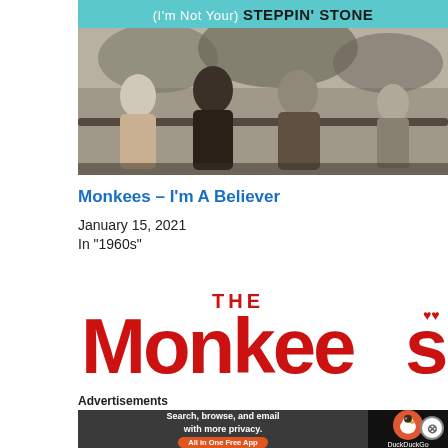[Figure (photo): Album cover for The Monkees single '(I'm Not Your) Steppin' Stone' with a teal top bar and black-and-white photo of four band members sitting on a fence outdoors.]
Monkees – I'm A Believer
January 15, 2021
In "1960s"
[Figure (logo): The Monkees logo in large red stylized lettering with 'THE' above in smaller red text and decorative hearts.]
Advertisements
[Figure (other): DuckDuckGo advertisement banner: 'Search, browse, and email with more privacy. All in One Free App' with DuckDuckGo duck logo on right side.]